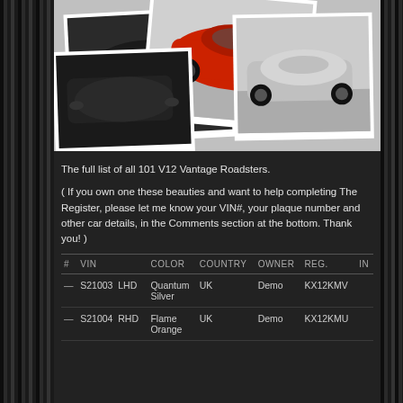[Figure (photo): Photo collage of three Aston Martin V12 Vantage Roadsters: a dark/black car, a red car, and a silver car, arranged as overlapping polaroid-style photos on a light background.]
The full list of all 101 V12 Vantage Roadsters.
( If you own one these beauties and want to help completing The Register, please let me know your VIN#, your plaque number and other car details, in the Comments section at the bottom. Thank you! )
| # | VIN | COLOR | COUNTRY | OWNER | REG. | IN |
| --- | --- | --- | --- | --- | --- | --- |
| — | S21003  LHD | Quantum Silver | UK | Demo | KX12KMV |  |
| — | S21004  RHD | Flame Orange | UK | Demo | KX12KMU |  |